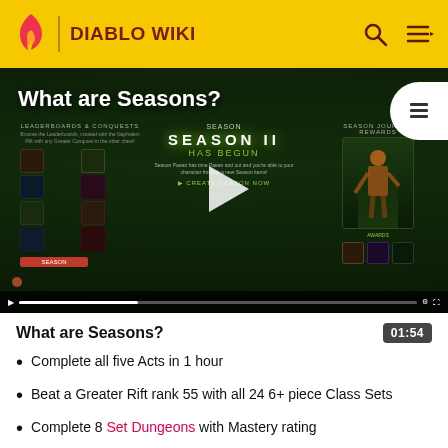DIABLO WIKI
[Figure (screenshot): Video thumbnail showing Diablo III Season II Has Begun screen with a play button overlay, title 'What are Seasons?' in top left, and a table-of-contents icon in the top right]
What are Seasons?
01:54
Complete all five Acts in 1 hour
Beat a Greater Rift rank 55 with all 24 6+ piece Class Sets
Complete 8 Set Dungeons with Mastery rating